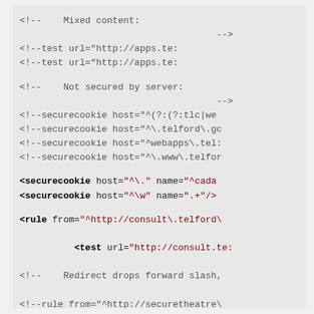<!--    Mixed content:
                                    -->
<!--test url="http://apps.te:
<!--test url="http://apps.te:
<!--    Not secured by server:
                                    -->
<!--securecookie host="^(?:(?:tlc|we
<!--securecookie host="^\.telford\.gc
<!--securecookie host="^webapps\.tel:
<!--securecookie host="^\.www\.telfor
<securecookie host="^\." name="^cada
<securecookie host="^\w" name=".+"/>
<rule from="^http://consult\.telford\
    <test url="http://consult.te:
<!--    Redirect drops forward slash,
<!--rule from="^http://securetheatre\
              to="https://theplacetelford.c
              <!--test url="http://securet
<rule from="^http:" to="https:"/>